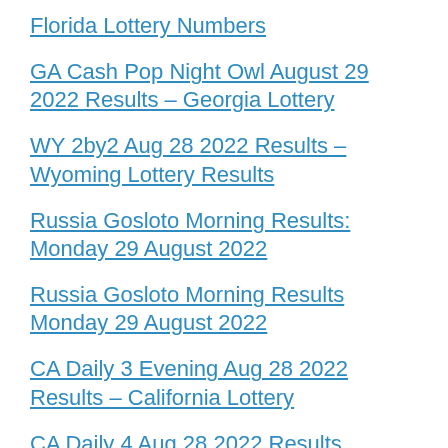Florida Lottery Numbers
GA Cash Pop Night Owl August 29 2022 Results – Georgia Lottery
WY 2by2 Aug 28 2022 Results – Wyoming Lottery Results
Russia Gosloto Morning Results: Monday 29 August 2022
Russia Gosloto Morning Results Monday 29 August 2022
CA Daily 3 Evening Aug 28 2022 Results – California Lottery
CA Daily 4 Aug 28 2022 Results
CA Daily Derby Aug 28 2022 Results
Set For Life Lottery Live Draw Monday, 29 August 2022 –